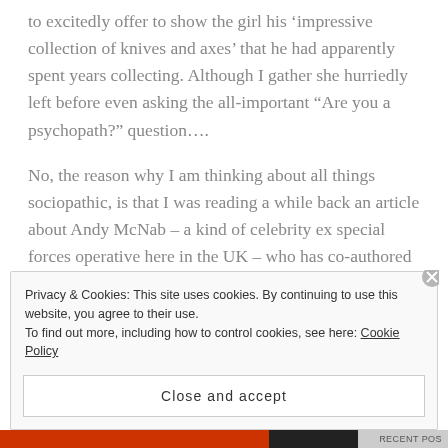to excitedly offer to show the girl his 'impressive collection of knives and axes' that he had apparently spent years collecting. Although I gather she hurriedly left before even asking the all-important "Are you a psychopath?" question....
No, the reason why I am thinking about all things sociopathic, is that I was reading a while back an article about Andy McNab – a kind of celebrity ex special forces operative here in the UK – who has co-authored a new book called The Good Psychopath's Guide to Success.
Privacy & Cookies: This site uses cookies. By continuing to use this website, you agree to their use.
To find out more, including how to control cookies, see here: Cookie Policy
Close and accept